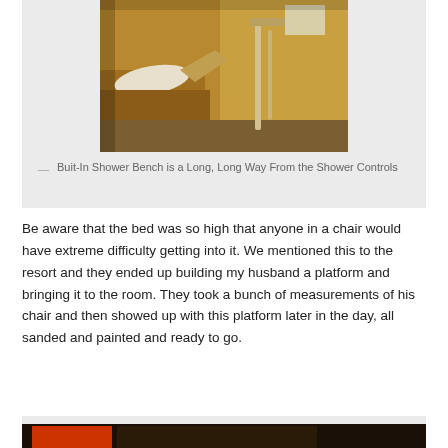[Figure (photo): Photo of a built-in shower bench in a bathroom, warm amber/brown tones, bench with white towel visible on left, shower controls and hardware visible on right]
— Buit-In Shower Bench is a Long, Long Way From the Shower Controls
Be aware that the bed was so high that anyone in a chair would have extreme difficulty getting into it. We mentioned this to the resort and they ended up building my husband a platform and bringing it to the room. They took a bunch of measurements of his chair and then showed up with this platform later in the day, all sanded and painted and ready to go.
[Figure (photo): Partial view of another photo at the bottom of the page, dark tones]